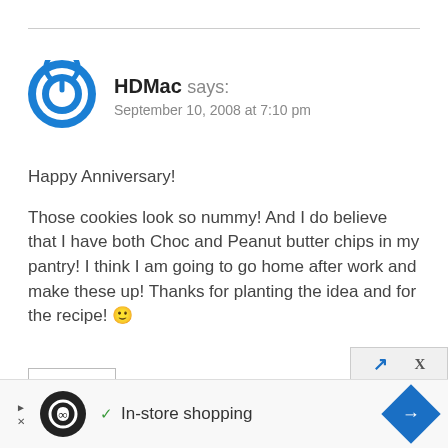[Figure (logo): Blue circular power button icon avatar for user HDMac]
HDMac says:
September 10, 2008 at 7:10 pm
Happy Anniversary!
Those cookies look so nummy! And I do believe that I have both Choc and Peanut butter chips in my pantry! I think I am going to go home after work and make these up! Thanks for planting the idea and for the recipe! 🙂
Reply
[Figure (screenshot): Advertisement bar at bottom: play/close icons, black circle logo, checkmark, In-store shopping text, blue diamond arrow icon, and X close button]